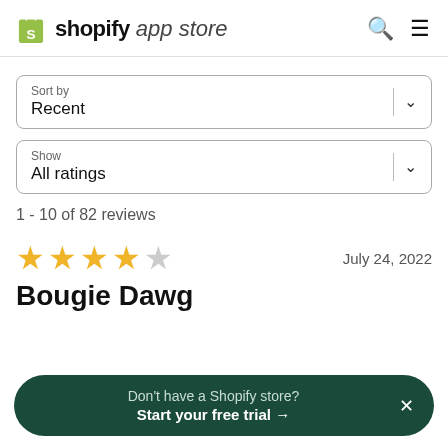shopify app store
Sort by
Recent
Show
All ratings
1 - 10 of 82 reviews
[Figure (other): 4 out of 5 stars rating]
July 24, 2022
Bougie Dawg
Don't have a Shopify store? Start your free trial →